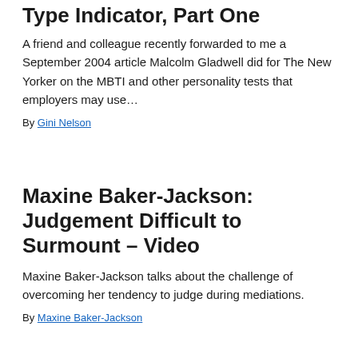Type Indicator, Part One
A friend and colleague recently forwarded to me a September 2004 article Malcolm Gladwell did for The New Yorker on the MBTI and other personality tests that employers may use…
By Gini Nelson
Maxine Baker-Jackson: Judgement Difficult to Surmount – Video
Maxine Baker-Jackson talks about the challenge of overcoming her tendency to judge during mediations.
By Maxine Baker-Jackson